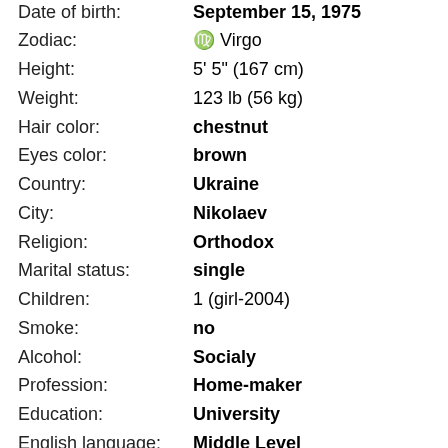| Field | Value |
| --- | --- |
| Date of birth: | September 15, 1975 |
| Zodiac: | ♍ Virgo |
| Height: | 5' 5" (167 cm) |
| Weight: | 123 lb (56 kg) |
| Hair color: | chestnut |
| Eyes color: | brown |
| Country: | Ukraine |
| City: | Nikolaev |
| Religion: | Orthodox |
| Marital status: | single |
| Children: | 1 (girl-2004) |
| Smoke: | no |
| Alcohol: | Socialy |
| Profession: | Home-maker |
| Education: | University |
| English language: | Middle Level |
| Others foreign languages: | No |
| Seeks partner: | 46 - 55 years old |